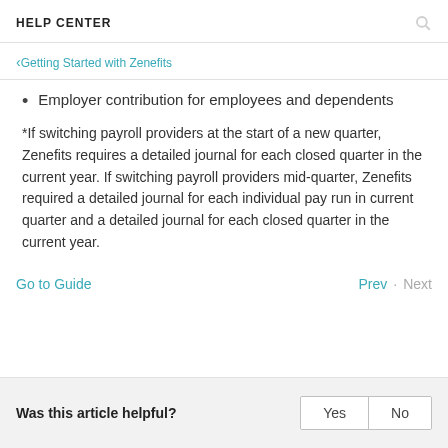HELP CENTER
< Getting Started with Zenefits
Employer contribution for employees and dependents
*If switching payroll providers at the start of a new quarter, Zenefits requires a detailed journal for each closed quarter in the current year. If switching payroll providers mid-quarter, Zenefits required a detailed journal for each individual pay run in current quarter and a detailed journal for each closed quarter in the current year.
Go to Guide   Prev · Next
Was this article helpful?  Yes  No